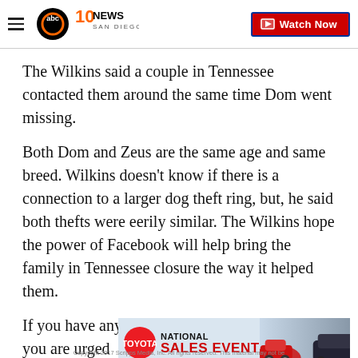10 News San Diego | Watch Now
The Wilkins said a couple in Tennessee contacted them around the same time Dom went missing.
Both Dom and Zeus are the same age and same breed. Wilkins doesn't know if there is a connection to a larger dog theft ring, but, he said both thefts were eerily similar. The Wilkins hope the power of Facebook will help bring the family in Tennessee closure the way it helped them.
If you have any information about Dom's theft you are urged
[Figure (other): Toyota National Sales Event advertisement banner with red car and dark SUV]
Copyright 2017 Scripps Media, Inc. All rights reserved. This material may not be